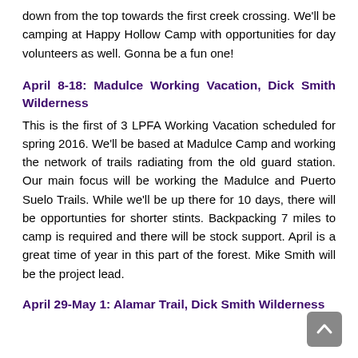down from the top towards the first creek crossing.  We'll be camping at Happy Hollow Camp with opportunities for day volunteers as well.  Gonna be a fun one!
April 8-18: Madulce Working Vacation, Dick Smith Wilderness
This is the first of 3 LPFA Working Vacation scheduled for spring 2016.  We'll be based at Madulce Camp and working the network of trails radiating from the old guard station.  Our main focus will be working the Madulce and Puerto Suelo Trails.  While we'll be up there for 10 days, there will be opportunties for shorter stints.  Backpacking 7 miles to camp is required and there will be stock support.  April is a great time of year in this part of the forest.  Mike Smith will be the project lead.
April 29-May 1: Alamar Trail, Dick Smith Wilderness